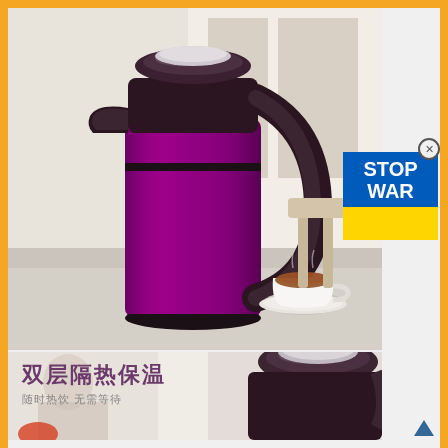[Figure (photo): Electric kettle in purple/magenta stainless steel with dark brown/black top and handle, placed next to a white cup of tea on a light surface. Background shows a bright interior room.]
STOP WAR
[Figure (photo): Close-up of an electric kettle (same purple/dark model) with Chinese text overlay reading 双层隔热保温 (Double layer insulation) and 随时热饮 无需等待 (Hot drinks anytime, no waiting). Blurred background with a person visible.]